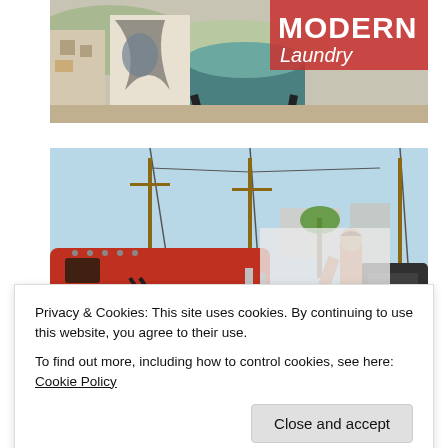[Figure (photo): Outdoor junkyard scene with large cylindrical metal object and a sign reading 'MODERN Laundry' in large letters against a backdrop of buildings and hills.]
[Figure (photo): Outdoor junkyard scene with a person standing among large red and black industrial equipment, power lines visible in the background, sunny sky.]
Privacy & Cookies: This site uses cookies. By continuing to use this website, you agree to their use.
To find out more, including how to control cookies, see here: Cookie Policy
Close and accept